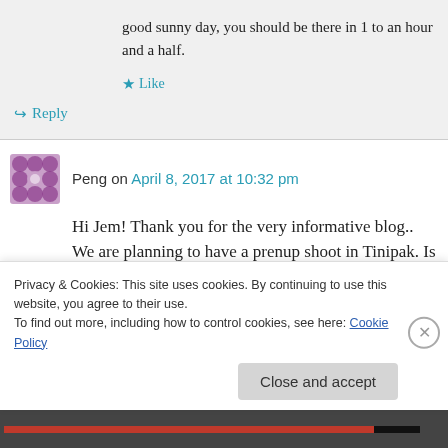good sunny day, you should be there in 1 to an hour and a half.
★ Like
↳ Reply
Peng on April 8, 2017 at 10:32 pm
Hi Jem! Thank you for the very informative blog.. We are planning to have a prenup shoot in Tinipak. Is it true that we have to pay 1500? and
Privacy & Cookies: This site uses cookies. By continuing to use this website, you agree to their use.
To find out more, including how to control cookies, see here: Cookie Policy
Close and accept